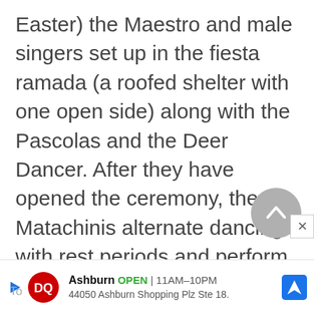Easter) the Maestro and male singers set up in the fiesta ramada (a roofed shelter with one open side) along with the Pascolas and the Deer Dancer. After they have opened the ceremony, the Matachinis alternate dancing with rest periods and perform throughout the night. A straw Judas (the man who betrayed Jesus) is hung, and people throw flowers or confetti to “kill” the Fariseos.
[Figure (other): Grey circular scroll-to-top button with upward chevron arrow]
[Figure (other): Dairy Queen advertisement banner showing DQ logo, Ashburn location open 11AM-10PM at 44050 Ashburn Shopping Plz Ste 18, with navigation arrow icon]